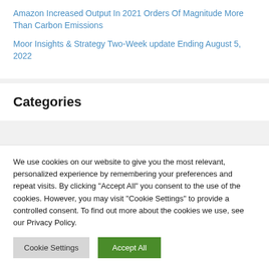Amazon Increased Output In 2021 Orders Of Magnitude More Than Carbon Emissions
Moor Insights & Strategy Two-Week update Ending August 5, 2022
Categories
We use cookies on our website to give you the most relevant, personalized experience by remembering your preferences and repeat visits. By clicking "Accept All" you consent to the use of the cookies. However, you may visit "Cookie Settings" to provide a controlled consent. To find out more about the cookies we use, see our Privacy Policy.